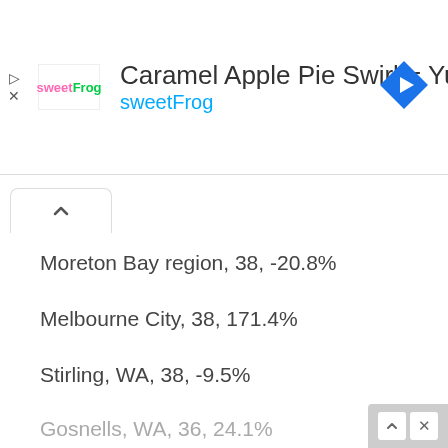[Figure (screenshot): Advertisement banner for sweetFrog with text 'Caramel Apple Pie Swirl = Yum' and navigation icon]
Moreton Bay region, 38, -20.8%
Melbourne City, 38, 171.4%
Stirling, WA, 38, -9.5%
Gosnells, WA, 36, 24.1%
Darebin, Victoria, 34, 30.8%